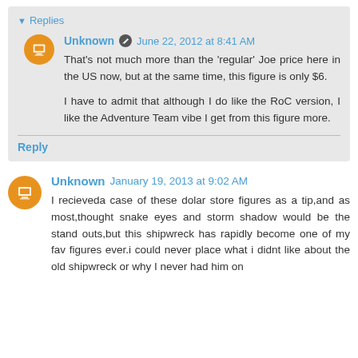▾ Replies
Unknown  June 22, 2012 at 8:41 AM
That's not much more than the 'regular' Joe price here in the US now, but at the same time, this figure is only $6.

I have to admit that although I do like the RoC version, I like the Adventure Team vibe I get from this figure more.
Reply
Unknown  January 19, 2013 at 9:02 AM
I recieveda case of these dolar store figures as a tip,and as most,thought snake eyes and storm shadow would be the stand outs,but this shipwreck has rapidly become one of my fav figures ever.i could never place what i didnt like about the old shipwreck or why I never had him on